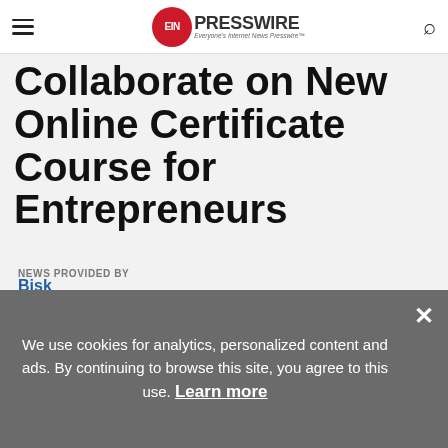EINPresswire — Everyone's Internet News Presswire
Collaborate on New Online Certificate Course for Entrepreneurs
NEWS PROVIDED BY
Bisk
January 20, 2022, 20:16 GMT
SHARE THIS ARTICLE
We use cookies for analytics, personalized content and ads. By continuing to browse this site, you agree to this use. Learn more